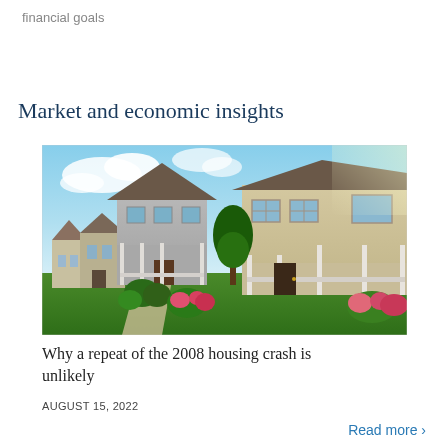financial goals
Market and economic insights
[Figure (photo): A sunny suburban street lined with neat two-story homes with porches, landscaped lawns, flowering bushes, and evergreen shrubs under a blue sky.]
Why a repeat of the 2008 housing crash is unlikely
AUGUST 15, 2022
Read more >